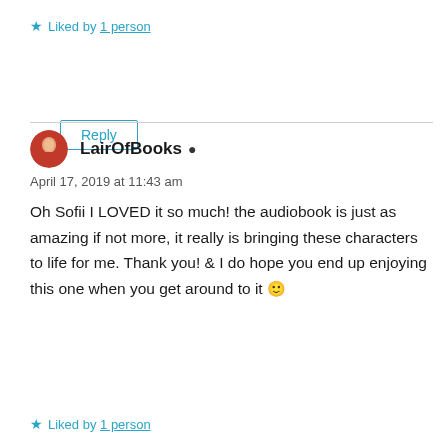★ Liked by 1 person
Reply
LairOfBooks ▲
April 17, 2019 at 11:43 am
Oh Sofii I LOVED it so much! the audiobook is just as amazing if not more, it really is bringing these characters to life for me. Thank you! & I do hope you end up enjoying this one when you get around to it 🙂
★ Liked by 1 person